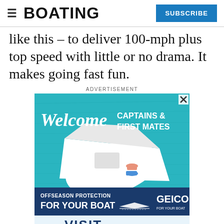BOATING | SUBSCRIBE
like this – to deliver 100-mph plus top speed with little or no drama. It makes going fast fun.
ADVERTISEMENT
[Figure (photo): Advertisement showing an aerial view of a white boat on turquoise water with two people sunbathing on deck. Text reads: Welcome CAPTAINS & FIRST MATES]
[Figure (photo): GEICO advertisement: OFFSEASON PROTECTION FOR YOUR BOAT, GEICO FOR YOUR BOAT]
[Figure (photo): Partial advertisement showing VISIT text]